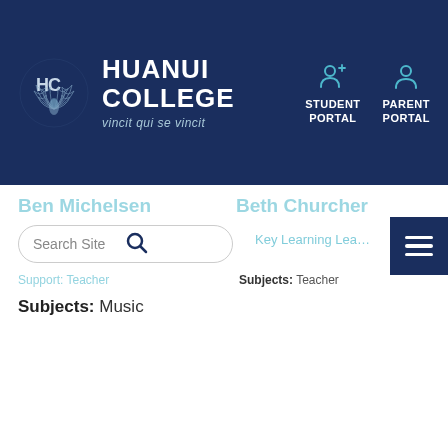[Figure (logo): Huanui College logo with HC initials and fern/wings emblem on dark navy background, with STUDENT PORTAL and PARENT PORTAL links]
Ben Michelsen
Beth Churcher
Search Site
Key Learning Lea…
Support: Teacher
Subjects: Teacher
Subjects: Music